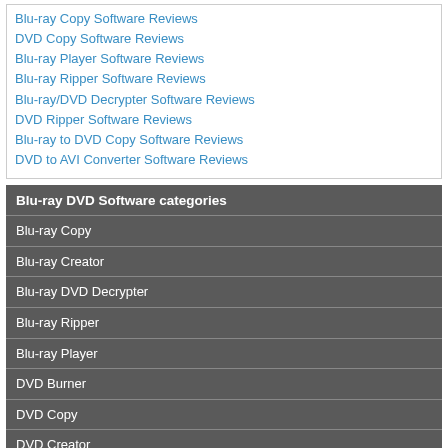Blu-ray Copy Software Reviews
DVD Copy Software Reviews
Blu-ray Player Software Reviews
Blu-ray Ripper Software Reviews
Blu-ray/DVD Decrypter Software Reviews
DVD Ripper Software Reviews
Blu-ray to DVD Copy Software Reviews
DVD to AVI Converter Software Reviews
Blu-ray DVD Software categories
Blu-ray Copy
Blu-ray Creator
Blu-ray DVD Decrypter
Blu-ray Ripper
Blu-ray Player
DVD Burner
DVD Copy
DVD Creator
Blu-ray DVD Software categories
DVD Ripper
DVD Backup
DVD Player
HD Video Tools
Mac Software
Movie List